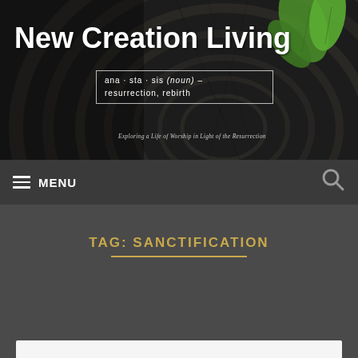[Figure (illustration): Website header banner showing a wood tree stump cross-section with a green sprouting plant. Large white bold text reads 'New Creation Living'. A bordered box contains dictionary-style text: 'ana·sta·sis (noun) – resurrection, rebirth'. Below is italic text: 'Exploring a Life of Worship in Light of the Resurrection'.]
≡ MENU
TAG: SANCTIFICATION